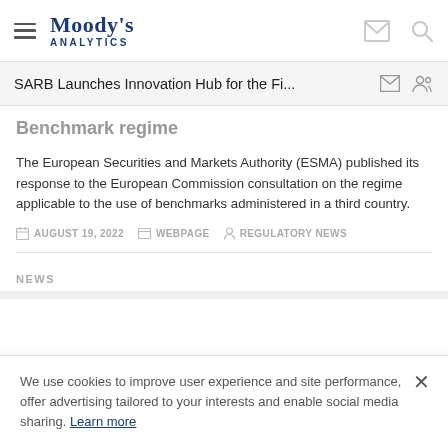Moody's Analytics
SARB Launches Innovation Hub for the Fi...
Benchmark regime
The European Securities and Markets Authority (ESMA) published its response to the European Commission consultation on the regime applicable to the use of benchmarks administered in a third country.
AUGUST 19, 2022   WEBPAGE   REGULATORY NEWS
NEWS
We use cookies to improve user experience and site performance, offer advertising tailored to your interests and enable social media sharing. Learn more